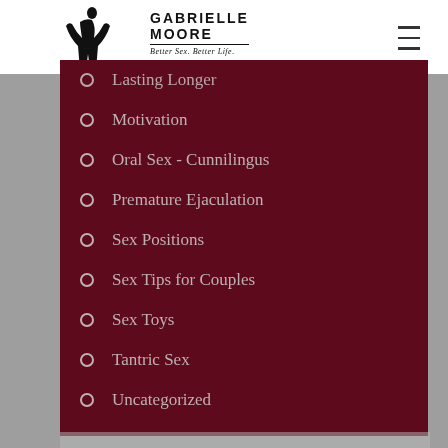GABRIELLE MOORE — Better Sex. Better Life.
Lasting Longer
Motivation
Oral Sex - Cunnilingus
Premature Ejaculation
Sex Positions
Sex Tips for Couples
Sex Toys
Tantric Sex
Uncategorized